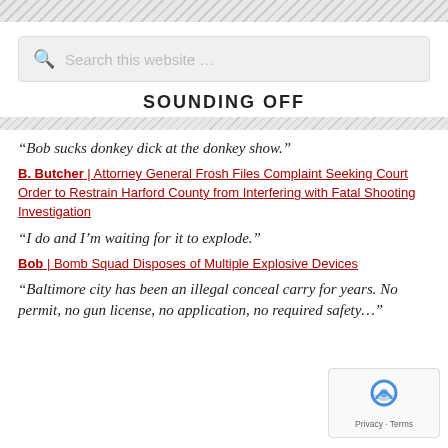[Figure (other): Diagonal hatch pattern decorative bar at top]
[Figure (screenshot): Search box with placeholder text 'Search this website …']
SOUNDING OFF
[Figure (other): Diagonal hatch pattern decorative bar below section header]
“Bob sucks donkey dick at the donkey show.”
B. Butcher | Attorney General Frosh Files Complaint Seeking Court Order to Restrain Harford County from Interfering with Fatal Shooting Investigation
“I do and I’m waiting for it to explode.”
Bob | Bomb Squad Disposes of Multiple Explosive Devices
“Baltimore city has been an illegal conceal carry for years. No permit, no gun license, no application, no required safety…”